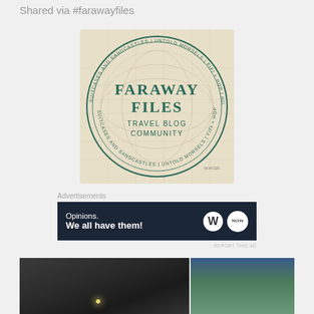Shared via #farawayfiles
[Figure (logo): Faraway Files Travel Blog Community circular stamp logo on a vintage map background. Center text reads FARAWAY FILES TRAVEL BLOG COMMUNITY in teal/dark green. Circular text around the border lists blog names: SUITCASES AND SANDCASTLES | UNTOLD MORSELS | FIFI + HOP | HILARY STYLE | OREGON GIRL AROUND THE WORLD]
Advertisements
[Figure (screenshot): Dark navy advertisement banner reading 'Opinions. We all have them!' with WordPress W logo and a NOW circular logo on the right]
REPORT THIS AD
[Figure (photo): Two photos side by side at the bottom: left shows a dark interior architectural scene with a small light source; right shows a blue-green mountain or waterfall landscape]